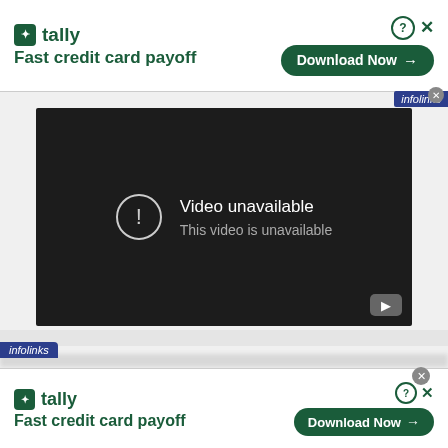[Figure (screenshot): Top Tally advertisement banner: logo with green icon and text 'tally', tagline 'Fast credit card payoff', Download Now button with arrow on right, question mark and X icons.]
[Figure (screenshot): YouTube video embed showing 'Video unavailable / This video is unavailable' error on dark background with warning circle icon and YouTube logo button.]
[Figure (screenshot): Bottom Tally advertisement banner (duplicate of top): tally logo, 'Fast credit card payoff' tagline, Download Now button, infolinks label, close buttons.]